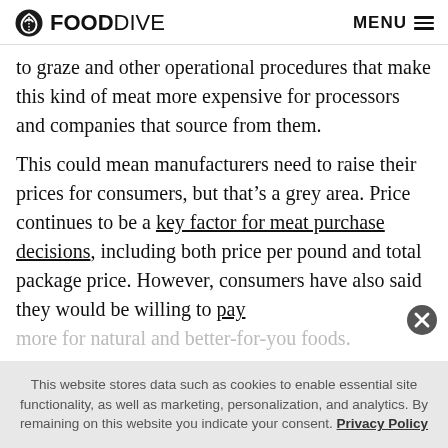FOOD DIVE  MENU
to graze and other operational procedures that make this kind of meat more expensive for processors and companies that source from them.
This could mean manufacturers need to raise their prices for consumers, but that’s a grey area. Price continues to be a key factor for meat purchase decisions, including both price per pound and total package price. However, consumers have also said they would be willing to pay more for natural and better-for-you foods.
This website stores data such as cookies to enable essential site functionality, as well as marketing, personalization, and analytics. By remaining on this website you indicate your consent. Privacy Policy